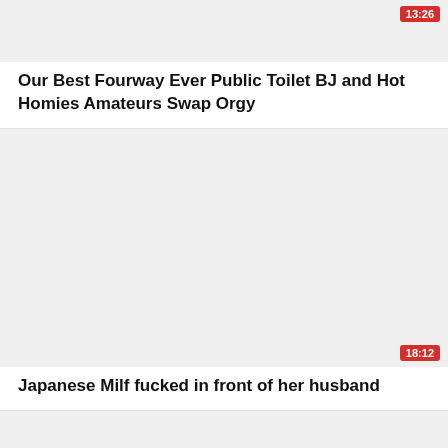[Figure (screenshot): Video thumbnail placeholder (white/light gray area) with red duration badge '13:26' in top-right corner]
Our Best Fourway Ever Public Toilet BJ and Hot Homies Amateurs Swap Orgy
[Figure (screenshot): Video thumbnail placeholder (white/light gray area) with red duration badge '18:12' in bottom-right corner]
Japanese Milf fucked in front of her husband